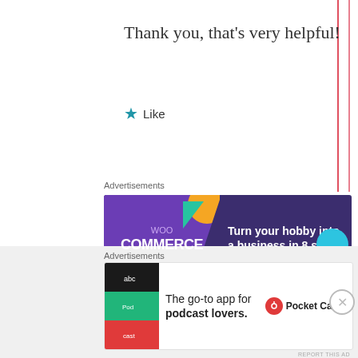Thank you, that’s very helpful!
★ Like
Advertisements
[Figure (other): WooCommerce advertisement banner: purple background with text 'Turn your hobby into a business in 8 steps' and WooCommerce logo]
REPORT THIS AD
[Figure (photo): Small square avatar photo of a person in a blue shirt outdoors]
Advertisements
[Figure (other): Pocket Casts advertisement: 'The go-to app for podcast lovers.' with Pocket Casts logo]
REPORT THIS AD